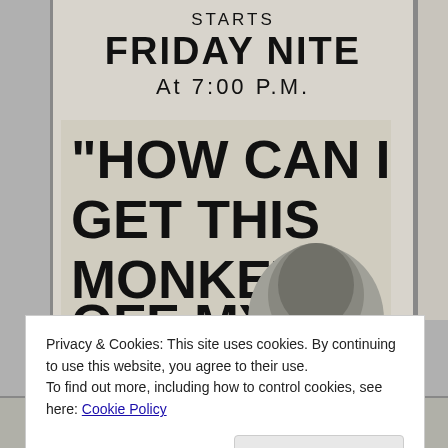[Figure (photo): Scanned black-and-white newspaper advertisement reading: STARTS / FRIDAY NITE / At 7:00 P.M. / 'HOW CAN I GET THIS MONKEY OFF MY BACK?' with a photo of a man's face in the lower right of the ad. A second partial newspaper strip appears at the very bottom of the page.]
Privacy & Cookies: This site uses cookies. By continuing to use this website, you agree to their use.
To find out more, including how to control cookies, see here: Cookie Policy
Close and accept